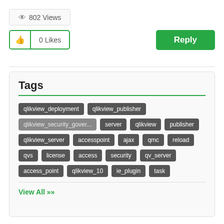802 Views
0 Likes
Reply
Tags
qlikview_deployment
qlikview_publisher
qlikview_security_gover...
server
qlikview
publisher
qlikview_server
accesspoint
ajax
qmc
reload
qvs
license
access
security
qv_server
access_point
qlikview_10
ie_plugin
task
View All >>